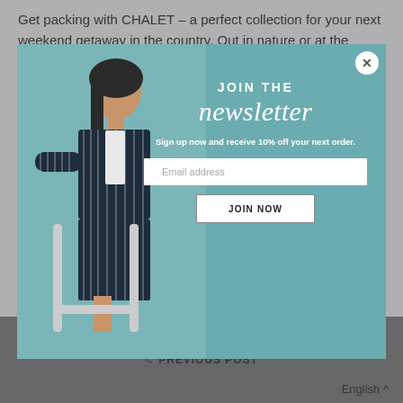Get packing with CHALET – a perfect collection for your next weekend getaway in the country. Out in nature or at the cottage, the...
[Figure (screenshot): Newsletter signup modal popup overlaying a webpage. Shows a fashion photo of a woman in a navy striped outfit seated on a chair, with text 'JOIN THE newsletter' and 'Sign up now and receive 10% off your next order.' along with an email input field and JOIN NOW button. A close (X) button appears in the top right corner.]
< PREVIOUS POST    English ^